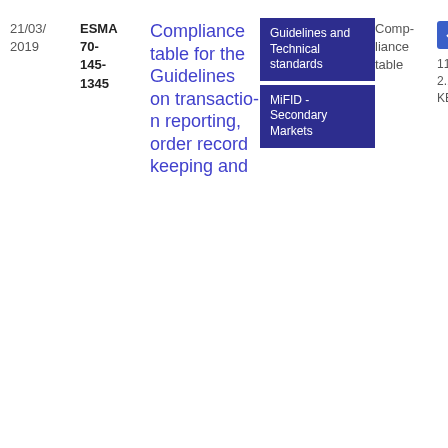21/03/2019
ESMA 70-145-1345
Compliance table for the Guidelines on transaction reporting, order record keeping and
Guidelines and Technical standards
MiFID - Secondary Markets
Compliance table
PDF
11
2.12 KB